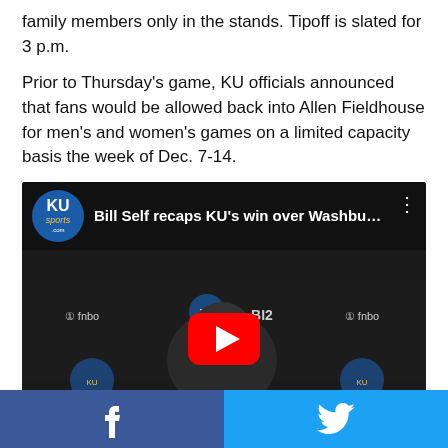family members only in the stands. Tipoff is slated for 3 p.m.
Prior to Thursday's game, KU officials announced that fans would be allowed back into Allen Fieldhouse for men's and women's games on a limited capacity basis the week of Dec. 7-14.
[Figure (screenshot): YouTube video embed showing Bill Self recaps KU's win over Washbu... with KUsports.com logo, fnbo and Big XII sponsors, play button overlay, KU Athletics branding]
Facebook share button | Twitter share button